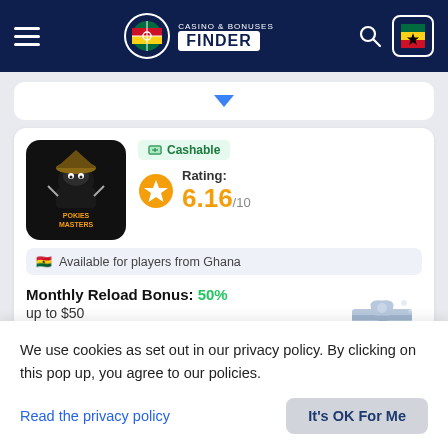Casino & Bonuses Finder
[Figure (screenshot): Collapsed card with blue dropdown arrow]
[Figure (logo): Casino Masters logo — dark background with anime ninja mascot]
Cashable
Rating: 6.16/10
Available for players from Ghana
Monthly Reload Bonus: 50% up to $50
Casino Masters
We use cookies as set out in our privacy policy. By clicking on this pop up, you agree to our policies.
Read the privacy policy
It's OK For Me